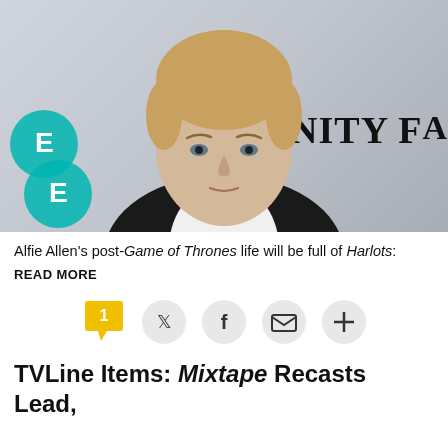[Figure (photo): Photo of Alfie Allen in a black suit and white shirt, standing in front of a step-and-repeat backdrop with EE logo (teal) and VANITY FAIR text in black.]
Alfie Allen's post-Game of Thrones life will be full of Harlots:
READ MORE
[Figure (infographic): Social sharing bar with comment (1), Twitter, Facebook, email, and plus buttons]
TVLine Items: Mixtape Recasts Lead,